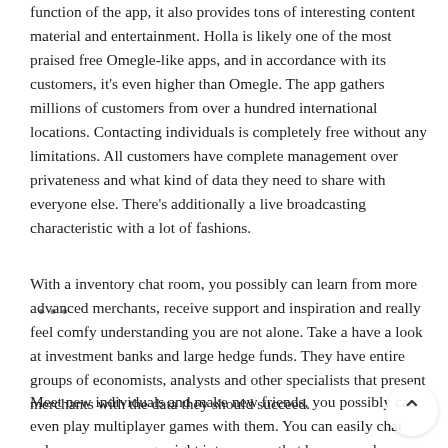function of the app, it also provides tons of interesting content material and entertainment. Holla is likely one of the most praised free Omegle-like apps, and in accordance with its customers, it's even higher than Omegle. The app gathers millions of customers from over a hundred international locations. Contacting individuals is completely free without any limitations. All customers have complete management over privateness and what kind of data they need to share with everyone else. There's additionally a live broadcasting characteristic with a lot of fashions.
With a inventory chat room, you possibly can learn from more advanced merchants, receive support and inspiration and really feel comfy understanding you are not alone. Take a have a look at investment banks and large hedge funds. They have entire groups of economists, analysts and other specialists that present merchants with the data they should succeed.
Meet new individuals and make new friends, you possibly can even play multiplayer games with them. You can easily chat pals one-on-one or go right into a room that has as much as